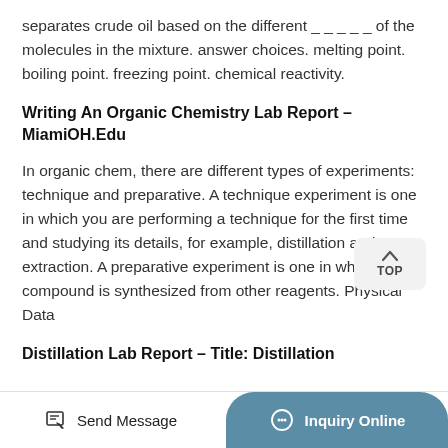separates crude oil based on the different _____ of the molecules in the mixture. answer choices. melting point. boiling point. freezing point. chemical reactivity.
Writing An Organic Chemistry Lab Report – MiamiOH.Edu
In organic chem, there are different types of experiments: technique and preparative. A technique experiment is one in which you are performing a technique for the first time and studying its details, for example, distillation and extraction. A preparative experiment is one in which a compound is synthesized from other reagents. Physical Data
Distillation Lab Report – Title: Distillation
Send Message
Inquiry Online